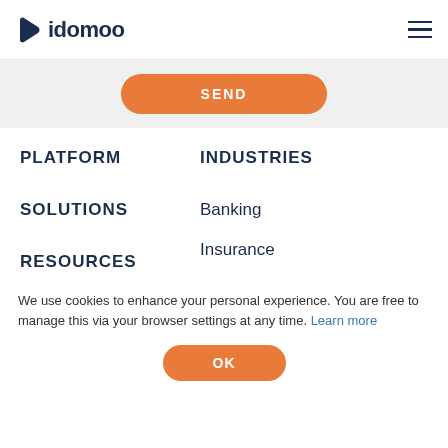idomoo
SEND
PLATFORM
INDUSTRIES
SOLUTIONS
Banking
Insurance
RESOURCES
Mortgages
We use cookies to enhance your personal experience. You are free to manage this via your browser settings at any time. Learn more
OK